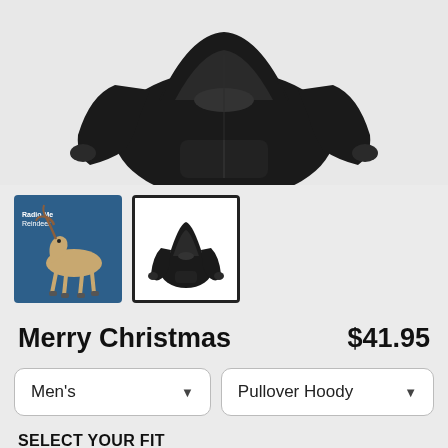[Figure (photo): Black pullover hoodie product photo on white/light gray background]
[Figure (photo): Two product thumbnails: left is reindeer on blue background, right is black hoodie on white background (currently selected)]
Merry Christmas
$41.95
Men's  |  Pullover Hoody (dropdown selectors)
SELECT YOUR FIT
$41.95
French Terry
$50.45
Sponge Fleece